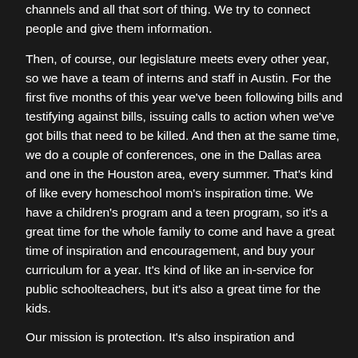channels and all that sort of thing. We try to connect people and give them information.
Then, of course, our legislature meets every other year, so we have a team of interns and staff in Austin. For the first five months of this year we've been following bills and testifying against bills, issuing calls to action when we've got bills that need to be killed. And then at the same time, we do a couple of conferences, one in the Dallas area and one in the Houston area, every summer. That's kind of like every homeschool mom's inspiration time. We have a children's program and a teen program, so it's a great time for the whole family to come and have a great time of inspiration and encouragement, and buy your curriculum for a year. It's kind of like an in-service for public schoolteachers, but it's also a great time for the kids.
Our mission is protection. It's also inspiration and